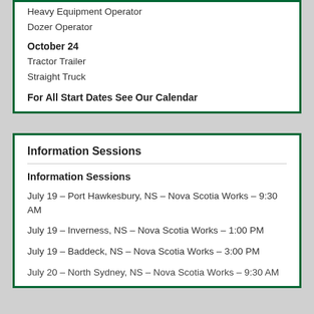Heavy Equipment Operator
Dozer Operator
October 24
Tractor Trailer
Straight Truck
For All Start Dates See Our Calendar
Information Sessions
Information Sessions
July 19 – Port Hawkesbury, NS – Nova Scotia Works – 9:30 AM
July 19 – Inverness, NS – Nova Scotia Works – 1:00 PM
July 19 – Baddeck, NS – Nova Scotia Works – 3:00 PM
July 20 – North Sydney, NS – Nova Scotia Works – 9:30 AM